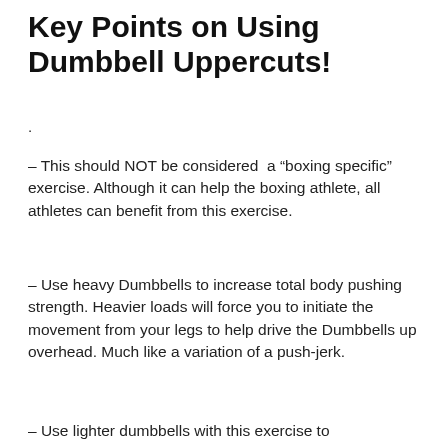Key Points on Using Dumbbell Uppercuts!
.
– This should NOT be considered a “boxing specific” exercise. Although it can help the boxing athlete, all athletes can benefit from this exercise.
– Use heavy Dumbbells to increase total body pushing strength. Heavier loads will force you to initiate the movement from your legs to help drive the Dumbbells up overhead. Much like a variation of a push-jerk.
– Use lighter dumbbells with this exercise to